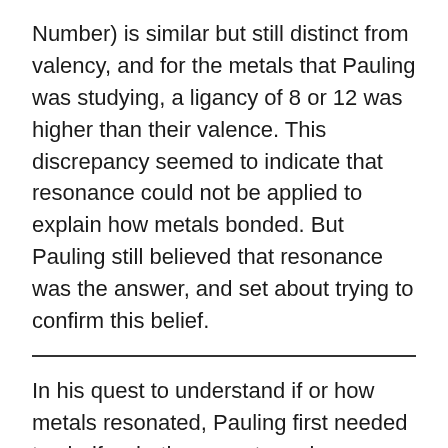Number) is similar but still distinct from valency, and for the metals that Pauling was studying, a ligancy of 8 or 12 was higher than their valence. This discrepancy seemed to indicate that resonance could not be applied to explain how metals bonded. But Pauling still believed that resonance was the answer, and set about trying to confirm this belief.
In his quest to understand if or how metals resonated, Pauling first needed to clarify whether or not previous thinking about metals was correct. Prior to the publication of his 1949 paper, it was believed that the d orbitals did not participate in bonding with the iron-group transition metals, such as Manganese, Iron, Cobalt, Nickel, and Copper. Using these assumptions, Pauling modeled the predicted properties of each metal and found that the